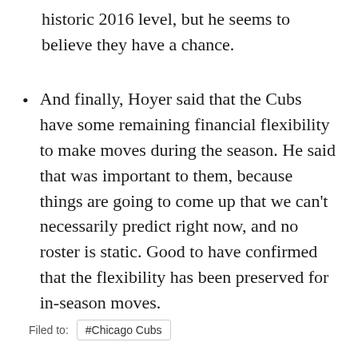historic 2016 level, but he seems to believe they have a chance.
And finally, Hoyer said that the Cubs have some remaining financial flexibility to make moves during the season. He said that was important to them, because things are going to come up that we can't necessarily predict right now, and no roster is static. Good to have confirmed that the flexibility has been preserved for in-season moves.
Filed to:  #Chicago Cubs